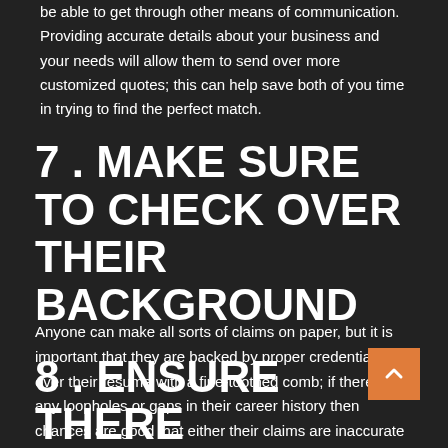be able to get through other means of communication. Providing accurate details about your business and your needs will allow them to send over more customized quotes; this can help save both of you time in trying to find the perfect match.
7 . MAKE SURE TO CHECK OVER THEIR BACKGROUND
Anyone can make all sorts of claims on paper, but it is important that they are backed by proper credentials. Go over their resume with a fine-toothed comb; if there are any loopholes or gaps in their career history then chances are good that either their claims are inaccurate or they simply aren't qualified for the position.
8 . ENSURE THERE